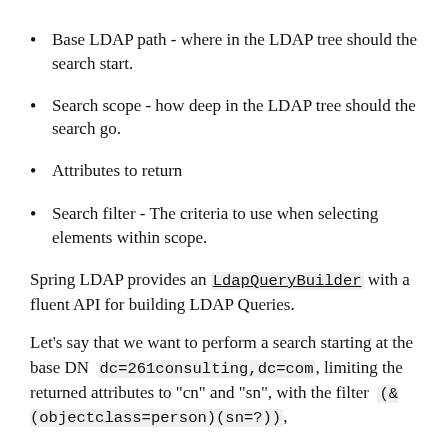Base LDAP path - where in the LDAP tree should the search start.
Search scope - how deep in the LDAP tree should the search go.
Attributes to return
Search filter - The criteria to use when selecting elements within scope.
Spring LDAP provides an LdapQueryBuilder with a fluent API for building LDAP Queries.
Let's say that we want to perform a search starting at the base DN dc=261consulting,dc=com, limiting the returned attributes to "cn" and "sn", with the filter (&(objectclass=person)(sn=?)),